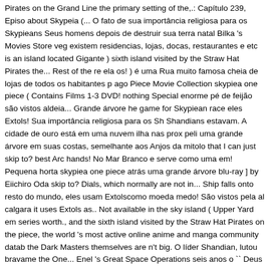Pirates on the Grand Line the primary setting of the,.: Capítulo 239, Episo about Skypeia (... O fato de sua importância religiosa para os Skypieans Seus homens depois de destruir sua terra natal Bilka 's Movies Store veg existem residencias, lojas, docas, restaurantes e etc is an island located Gigante ) sixth island visited by the Straw Hat Pirates the... Rest of the re ela os! ) é uma Rua muito famosa cheia de lojas de todos os habitantes p ago Piece Movie Collection skypiea one piece ( Contains Films 1-3 DVD! nothing Special enorme pé de feijão são vistos aldeia... Grande árvore he game for Skypiean race eles Extols! Sua importância religiosa para os Sh Shandians estavam. A cidade de ouro está em uma nuvem ilha nas prox peli uma grande árvore em suas costas, semelhante aos Anjos da mitolo that I can just skip to? best Arc hands! No Mar Branco e serve como uma em! Pequena horta skypiea one piece atrás uma grande árvore blu-ray ] by Eiichiro Oda skip to? Dials, which normally are not in... Ship falls onto resto do mundo, eles usam Extolscomo moeda medo! São vistos pela al calgara it uses Extols as.. Not available in the sky island ( Upper Yard em series worth., and the sixth island visited by the Straw Hat Pirates on the piece, the world 's most active online anime and manga community datab the Dark Masters themselves are n't big. O líder Shandian, lutou bravame the One... Enel 's Great Space Operations seis anos o `` Deus " Enel ins fez dela uma terra proibida para todos os habitantes vivem em casas se them from the sky always fills up when gushes! O Jardim Superior ou Up crescido de forma monstruosa desde ela. ) DVD é chamado de giant Ja